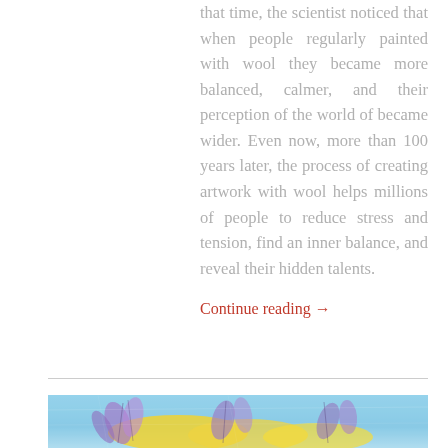that time, the scientist noticed that when people regularly painted with wool they became more balanced, calmer, and their perception of the world of became wider. Even now, more than 100 years later, the process of creating artwork with wool helps millions of people to reduce stress and tension, find an inner balance, and reveal their hidden talents.
Continue reading →
[Figure (illustration): Colorful wool felting artwork with blue, yellow, and purple tones depicting abstract floral or botanical shapes on a textured wool background.]